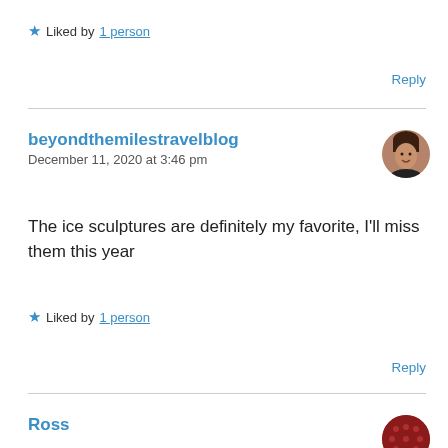★ Liked by 1 person
Reply
beyondthemilestravelblog
December 11, 2020 at 3:46 pm
The ice sculptures are definitely my favorite, I'll miss them this year
★ Liked by 1 person
Reply
Ross